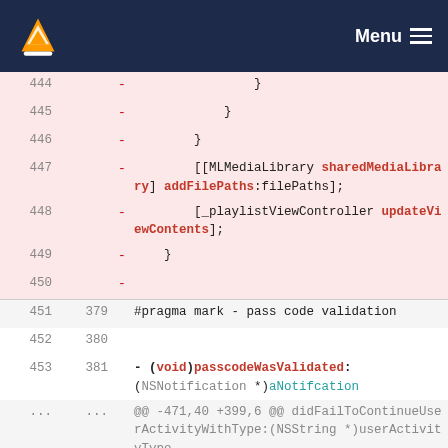VLC Menu
444   -   }
445   -     }
446   -   }
447   -   [[MLMediaLibrary sharedMediaLibrary] addFilePaths:filePaths];
448   -   [_playlistViewController updateViewContents];
449   - }
450   -
451  379   #pragma mark - pass code validation
452  380
453  381   - (void)passcodeWasValidated:(NSNotification *)aNotifcation
...  ...   @@ -471,40 +399,6 @@ didFailToContinueUserActivityWithType:(NSString *)userActivityType
471  399       _passcodeValidated = YES;
472  400   }